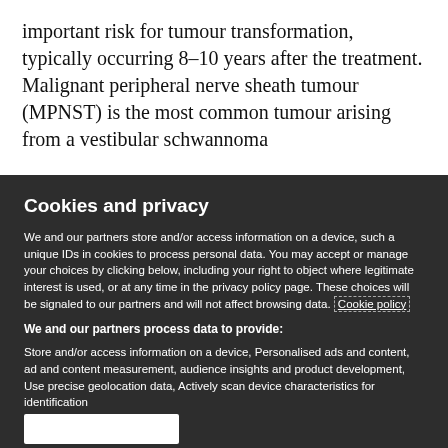important risk for tumour transformation, typically occurring 8–10 years after the treatment. Malignant peripheral nerve sheath tumour (MPNST) is the most common tumour arising from a vestibular schwannoma
Cookies and privacy
We and our partners store and/or access information on a device, such a unique IDs in cookies to process personal data. You may accept or manage your choices by clicking below, including your right to object where legitimate interest is used, or at any time in the privacy policy page. These choices will be signaled to our partners and will not affect browsing data. Cookie policy
We and our partners process data to provide:
Store and/or access information on a device, Personalised ads and content, ad and content measurement, audience insights and product development, Use precise geolocation data, Actively scan device characteristics for identification
List of Partners (vendors)